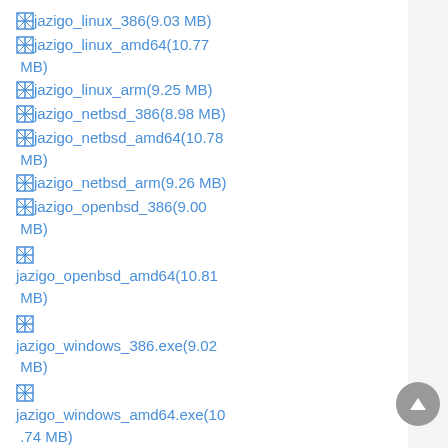jazigo_linux_386(9.03 MB)
jazigo_linux_amd64(10.77 MB)
jazigo_linux_arm(9.25 MB)
jazigo_netbsd_386(8.98 MB)
jazigo_netbsd_amd64(10.78 MB)
jazigo_netbsd_arm(9.26 MB)
jazigo_openbsd_386(9.00 MB)
jazigo_openbsd_amd64(10.81 MB)
jazigo_windows_386.exe(9.02 MB)
jazigo_windows_amd64.exe(10.74 MB)